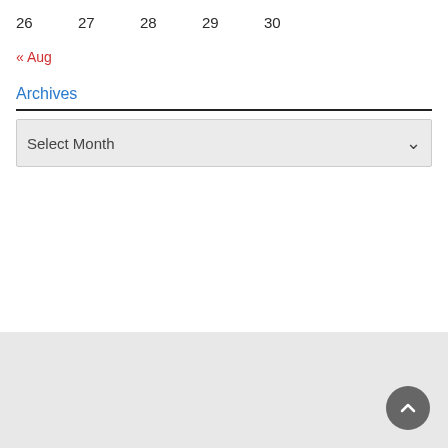26  27  28  29  30
« Aug
Archives
Select Month